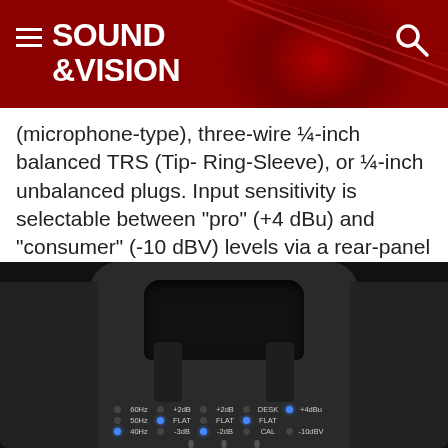SOUND &VISION
(microphone-type), three-wire ¼-inch balanced TRS (Tip- Ring-Sleeve), or ¼-inch unbalanced plugs. Input sensitivity is selectable between "pro" (+4 dBu) and "consumer" (-10 dBV) levels via a rear-panel push-button.
[Figure (photo): Top-down view of a black powered speaker/monitor showing the top panel with control buttons labeled: 60Hz, +2dB, +2dB, DESK, +4dBu (blue LED), 50Hz, FLAT (blue LED), FLAT, FLAT (blue LED), 40Hz (blue LED), -3dB, -2dB (blue LED), CAL, -10dBV]